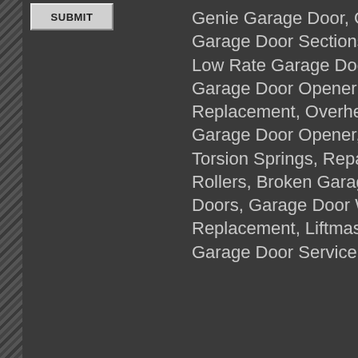[Figure (other): Left decorative rope/chain border pattern in dark gray]
SUBMIT
Genie Garage Door, Genie Ga Garage Door Sections, Local Low Rate Garage Door Repai Garage Door Opener Service Replacement, Overhead Gara Garage Door Opener, Garage Torsion Springs, Repair Genie Rollers, Broken Garage Door Doors, Garage Door Warranty Replacement, Liftmaster Gara Garage Door Service and mo